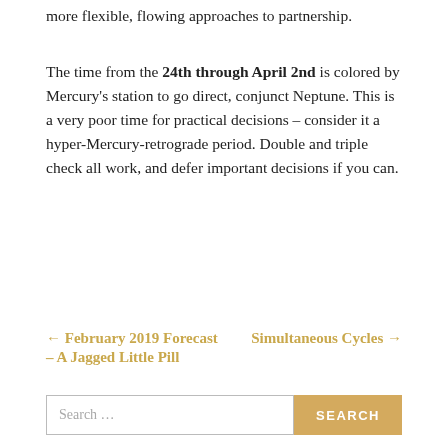more flexible, flowing approaches to partnership.
The time from the 24th through April 2nd is colored by Mercury's station to go direct, conjunct Neptune. This is a very poor time for practical decisions – consider it a hyper-Mercury-retrograde period. Double and triple check all work, and defer important decisions if you can.
← February 2019 Forecast    Simultaneous Cycles →
– A Jagged Little Pill
Search …